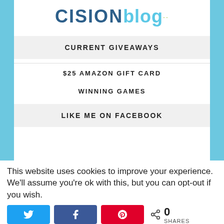[Figure (logo): Cision Blog logo with 'CISION' in dark blue uppercase and 'blog' in light blue with decorative dots]
CURRENT GIVEAWAYS
$25 AMAZON GIFT CARD
WINNING GAMES
LIKE ME ON FACEBOOK
This website uses cookies to improve your experience. We'll assume you're ok with this, but you can opt-out if you wish.
0 SHARES